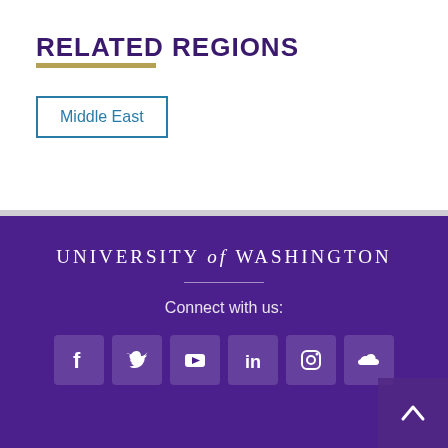RELATED REGIONS
Middle East
UNIVERSITY of WASHINGTON
Connect with us: